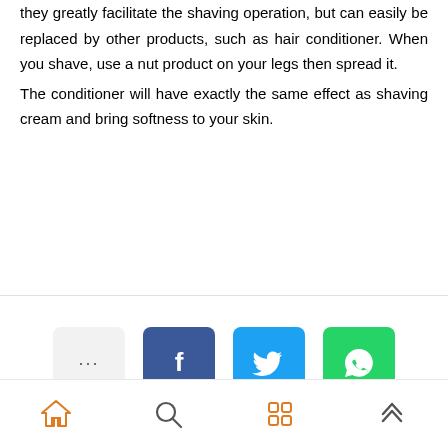they greatly facilitate the shaving operation, but can easily be replaced by other products, such as hair conditioner. When you shave, use a nut product on your legs then spread it. The conditioner will have exactly the same effect as shaving cream and bring softness to your skin.
[Figure (infographic): Social share buttons: more options (three dots), Facebook, Twitter, WhatsApp]
[Figure (infographic): Bottom navigation bar with home, search, grid/apps, and up-arrow icons]